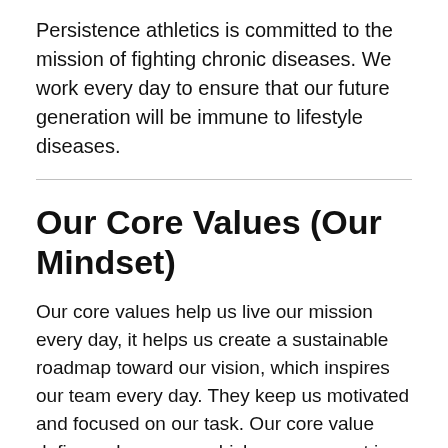Persistence athletics is committed to the mission of fighting chronic diseases. We work every day to ensure that our future generation will be immune to lifestyle diseases.
Our Core Values (Our Mindset)
Our core values help us live our mission every day, it helps us create a sustainable roadmap toward our vision, which inspires our team every day. They keep us motivated and focused on our task. Our core value defines who we are which we represent in four pillars –
Our core